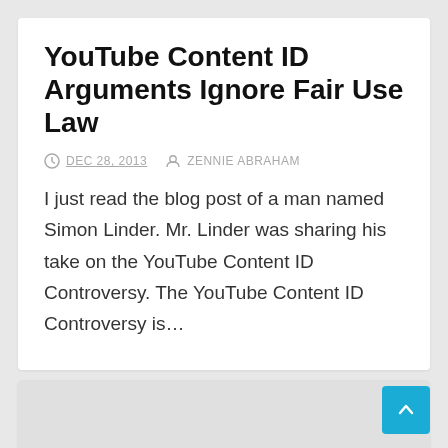YouTube Content ID Arguments Ignore Fair Use Law
DEC 28, 2013   ZENNIE ABRAHAM
I just read the blog post of a man named Simon Linder. Mr. Linder was sharing his take on the YouTube Content ID Controversy. The YouTube Content ID Controversy is…
[Figure (photo): Gray image placeholder for second article]
NEWS   OAKLAND   ZENNIE62 NEWS
Dan Siegel, Former Quan Aide, Occupy Oakland Hero, To Run For